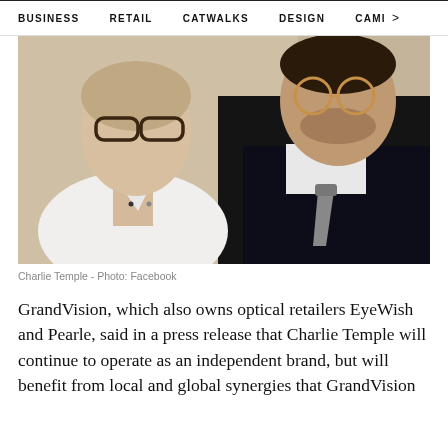BUSINESS   RETAIL   CATWALKS   DESIGN   CAMI >
[Figure (photo): Two models wearing eyeglasses — a woman in white on the left and a man in dark sweater with grey tie on the right, against a beige/neutral background. Charlie Temple brand photo.]
Charlie Temple - Photo: Facebook
GrandVision, which also owns optical retailers EyeWish and Pearle, said in a press release that Charlie Temple will continue to operate as an independent brand, but will benefit from local and global synergies that GrandVision